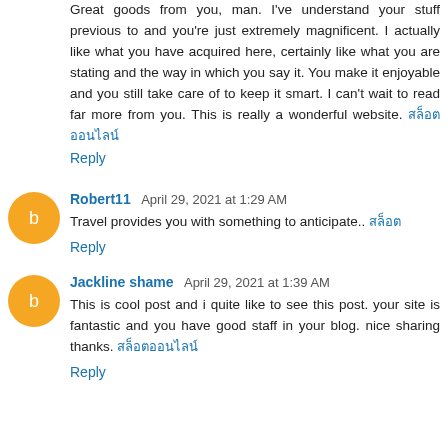Great goods from you, man. I've understand your stuff previous to and you're just extremely magnificent. I actually like what you have acquired here, certainly like what you are stating and the way in which you say it. You make it enjoyable and you still take care of to keep it smart. I can't wait to read far more from you. This is really a wonderful website. สล็อตออนไลน์
Reply
Robert11  April 29, 2021 at 1:29 AM
Travel provides you with something to anticipate.. สล็อตออนไลน์
Reply
Jackline shame  April 29, 2021 at 1:39 AM
This is cool post and i quite like to see this post. your site is fantastic and you have good staff in your blog. nice sharing thanks. สล็อออนไลน์
Reply